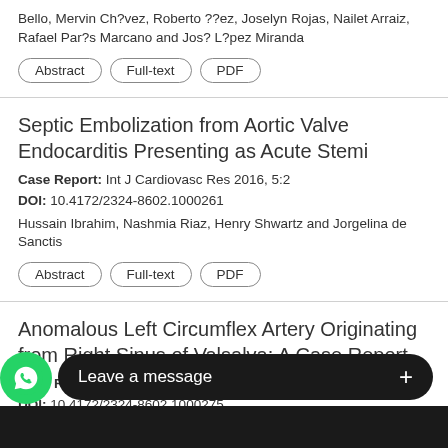Bello, Mervin Ch?vez, Roberto ??ez, Joselyn Rojas, Nailet Arraiz, Rafael Par?s Marcano and Jos? L?pez Miranda
Abstract | Full-text | PDF
Septic Embolization from Aortic Valve Endocarditis Presenting as Acute Stemi
Case Report: Int J Cardiovasc Res 2016, 5:2
DOI: 10.4172/2324-8602.1000261
Hussain Ibrahim, Nashmia Riaz, Henry Shwartz and Jorgelina de Sanctis
Abstract | Full-text | PDF
Anomalous Left Circumflex Artery Originating from Right Sinus of Valsalva: A Case Report
Case Report: Int J Cardiovas Res 2016,5:4
DOI: 10.4172/2324-8602.1000275
Salib and Raul Amor
[Figure (screenshot): WhatsApp 'Leave a message' overlay button at bottom of screen]